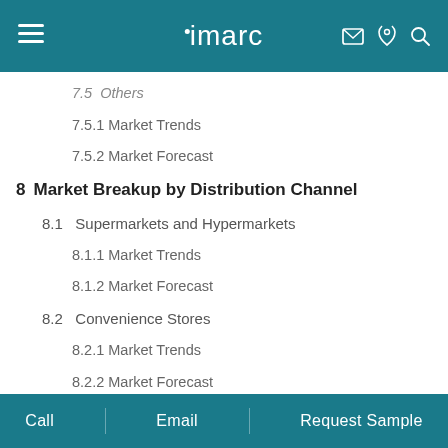imarc
7.5.1 Market Trends
7.5.2 Market Forecast
8  Market Breakup by Distribution Channel
8.1  Supermarkets and Hypermarkets
8.1.1 Market Trends
8.1.2 Market Forecast
8.2  Convenience Stores
8.2.1 Market Trends
8.2.2 Market Forecast
8.3  Specialty Retailers
8.3.1 Market Trends
Call   Email   Request Sample